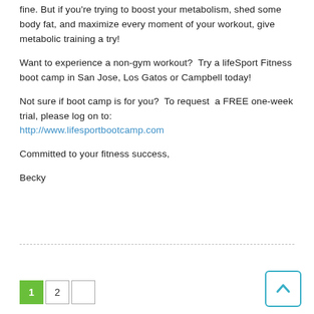fine. But if you're trying to boost your metabolism, shed some body fat, and maximize every moment of your workout, give metabolic training a try!
Want to experience a non-gym workout?  Try a lifeSport Fitness boot camp in San Jose, Los Gatos or Campbell today!
Not sure if boot camp is for you?  To request  a FREE one-week trial, please log on to: http://www.lifesportbootcamp.com
Committed to your fitness success,
Becky
1  2